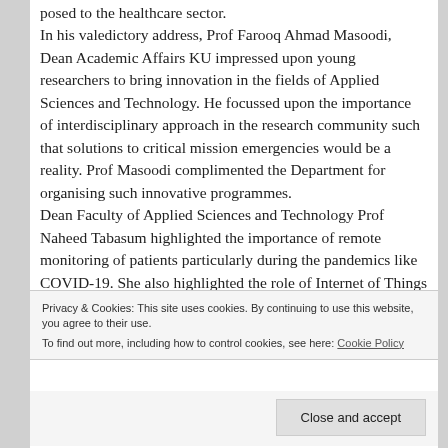posed to the healthcare sector. In his valedictory address, Prof Farooq Ahmad Masoodi, Dean Academic Affairs KU impressed upon young researchers to bring innovation in the fields of Applied Sciences and Technology. He focussed upon the importance of interdisciplinary approach in the research community such that solutions to critical mission emergencies would be a reality. Prof Masoodi complimented the Department for organising such innovative programmes. Dean Faculty of Applied Sciences and Technology Prof Naheed Tabasum highlighted the importance of remote monitoring of patients particularly during the pandemics like COVID-19. She also highlighted the role of Internet of Things (IoT) in the delivery of modern healthcare facilities.
Privacy & Cookies: This site uses cookies. By continuing to use this website, you agree to their use. To find out more, including how to control cookies, see here: Cookie Policy
Close and accept
members will remain well apprised about the recent